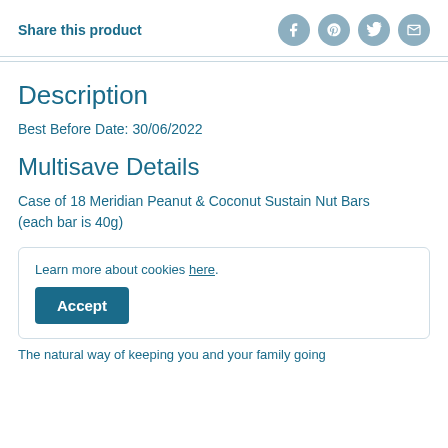Share this product
[Figure (illustration): Social sharing icons: Facebook, Pinterest, Twitter, Email — circular grey-blue buttons]
Description
Best Before Date: 30/06/2022
Multisave Details
Case of 18 Meridian Peanut & Coconut Sustain Nut Bars (each bar is 40g)
Learn more about cookies here.
Accept
The natural way of keeping you and your family going